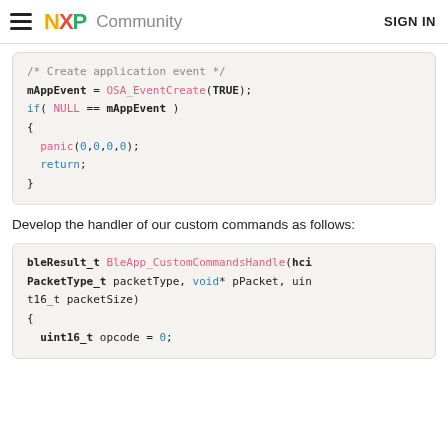NXP Community   SIGN IN
Develop the handler of our custom commands as follows: